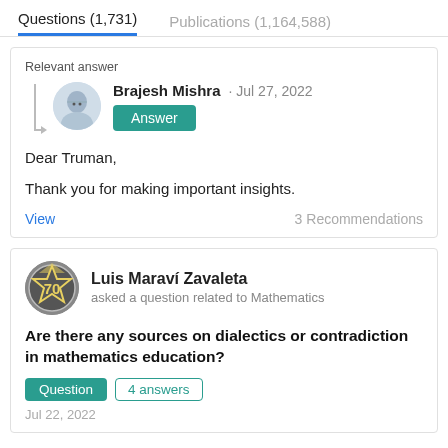Questions (1,731)   Publications (1,164,588)
Relevant answer
Brajesh Mishra · Jul 27, 2022
Answer
Dear Truman,

Thank you for making important insights.
View   3 Recommendations
Luis Maraví Zavaleta
asked a question related to Mathematics
Are there any sources on dialectics or contradiction in mathematics education?
Question   4 answers
Jul 22, 2022